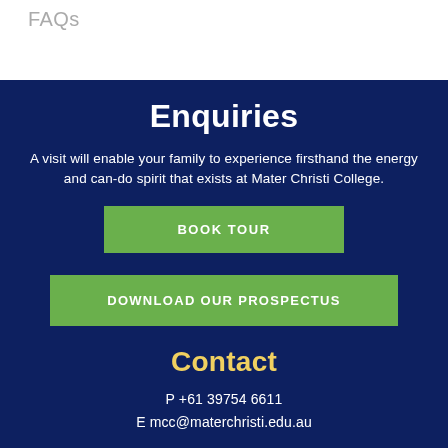FAQs
Enquiries
A visit will enable your family to experience firsthand the energy and can-do spirit that exists at Mater Christi College.
BOOK TOUR
DOWNLOAD OUR PROSPECTUS
Contact
P +61 39754 6611
E mcc@materchristi.edu.au